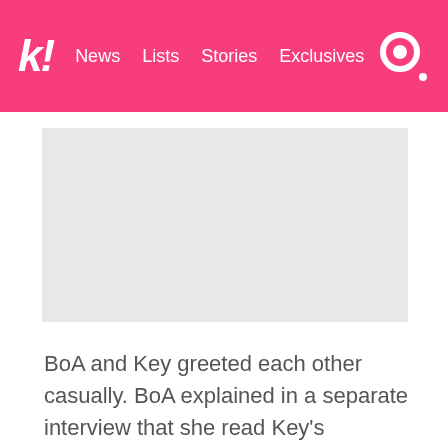k! News Lists Stories Exclusives
[Figure (photo): Gray placeholder image area]
BoA and Key greeted each other casually. BoA explained in a separate interview that she read Key's Instagram post and decided to treat him like she always does.
“If possible, when you see us, please treat us like you would have treated us any other time. Please keep supporting us, we would appreciate the love so much. Please keep the members